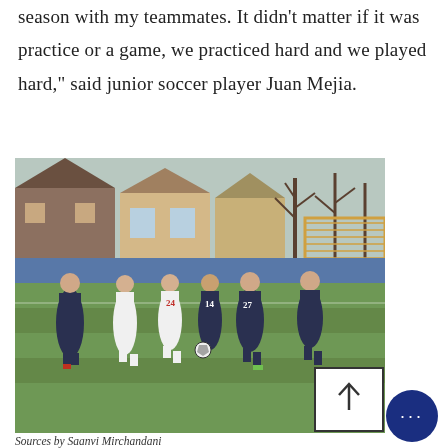season with my teammates. It didn't matter if it was practice or a game, we practiced hard and we played hard," said junior soccer player Juan Mejia.
[Figure (photo): Soccer players on a field during a game. Players in dark uniforms (numbers 27, 24, 14, and others) compete against players in white uniforms on a blue/green turf field, with houses and bare trees visible in the background.]
Sources by Saanvi Mirchandani
Senior Thomas Stec kicks the ball past the players on the opposing team.